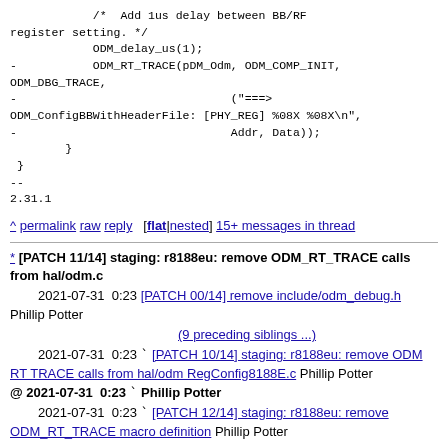/* Add 1us delay between BB/RF register setting. */
            ODM_delay_us(1);
-           ODM_RT_TRACE(pDM_Odm, ODM_COMP_INIT, ODM_DBG_TRACE,
-                               ("===>
ODM_ConfigBBWithHeaderFile: [PHY_REG] %08X %08X\n",
-                               Addr, Data));
        }
 }
--
2.31.1
^ permalink raw reply [flat|nested] 15+ messages in thread
* [PATCH 11/14] staging: r8188eu: remove ODM_RT_TRACE calls from hal/odm.c
  2021-07-31  0:23 [PATCH 00/14] remove include/odm_debug.h Phillip Potter
                   (9 preceding siblings ...)
  2021-07-31  0:23 ` [PATCH 10/14] staging: r8188eu: remove ODM RT TRACE calls from hal/odm RegConfig8188E.c Phillip Potter
@ 2021-07-31  0:23 ` Phillip Potter
  2021-07-31  0:23 ` [PATCH 12/14] staging: r8188eu: remove ODM_RT_TRACE macro definition Phillip Potter